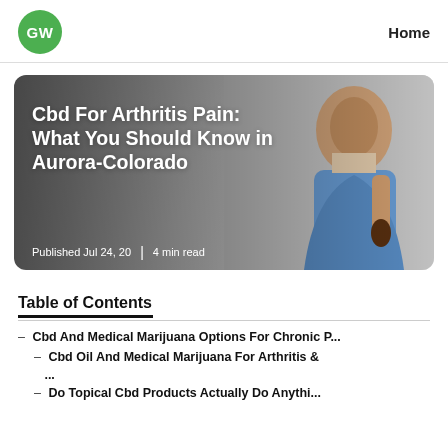GW | Home
[Figure (photo): Hero card with photo of a young woman in a denim jacket holding a CBD oil dropper bottle, with overlay text title and publication metadata]
Cbd For Arthritis Pain: What You Should Know in Aurora-Colorado
Published Jul 24, 20  |  4 min read
Table of Contents
– Cbd And Medical Marijuana Options For Chronic P...
– Cbd Oil And Medical Marijuana For Arthritis & ...
– Do Topical Cbd Products Actually Do Anything...